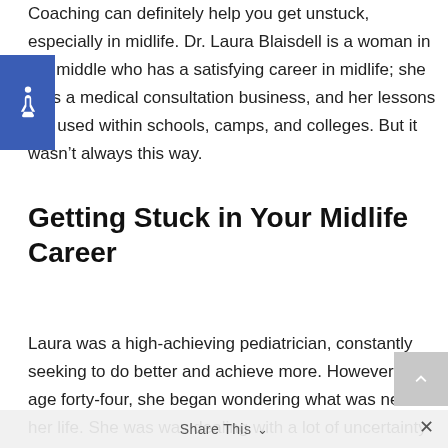Coaching can definitely help you get unstuck, especially in midlife. Dr. Laura Blaisdell is a woman in the middle who has a satisfying career in midlife; she runs a medical consultation business, and her lessons are used within schools, camps, and colleges. But it wasn't always this way.
Getting Stuck in Your Midlife Career
Laura was a high-achieving pediatrician, constantly seeking to do better and achieve more. However, at age forty-four, she began wondering what was next in her life. She was was dealing with a lot of uncertainty and felt quite stuck in midlife.